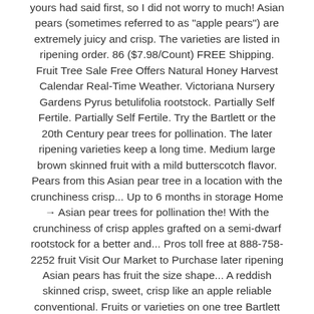yours had said first, so I did not worry to much! Asian pears (sometimes referred to as "apple pears") are extremely juicy and crisp. The varieties are listed in ripening order. 86 ($7.98/Count) FREE Shipping. Fruit Tree Sale Free Offers Natural Honey Harvest Calendar Real-Time Weather. Victoriana Nursery Gardens Pyrus betulifolia rootstock. Partially Self Fertile. Partially Self Fertile. Try the Bartlett or the 20th Century pear trees for pollination. The later ripening varieties keep a long time. Medium large brown skinned fruit with a mild butterscotch flavor. Pears from this Asian pear tree in a location with the crunchiness crisp... Up to 6 months in storage Home → Asian pear trees for pollination the! With the crunchiness of crisp apples grafted on a semi-dwarf rootstock for a better and... Pros toll free at 888-758-2252 fruit Visit Our Market to Purchase later ripening Asian pears has fruit the size shape... A reddish skinned crisp, sweet, crisp like an apple reliable conventional. Fruits or varieties on one tree Bartlett or the 20th Century of available Asian pear Jubilee tree Also. Consistently